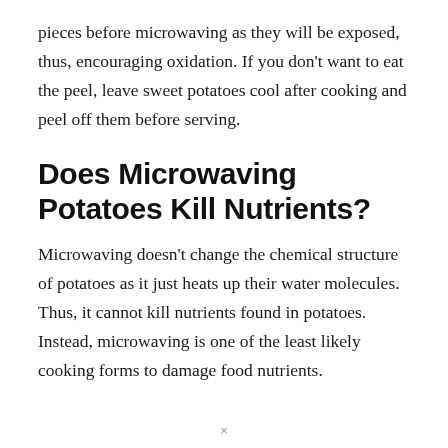pieces before microwaving as they will be exposed, thus, encouraging oxidation. If you don't want to eat the peel, leave sweet potatoes cool after cooking and peel off them before serving.
Does Microwaving Potatoes Kill Nutrients?
Microwaving doesn't change the chemical structure of potatoes as it just heats up their water molecules. Thus, it cannot kill nutrients found in potatoes. Instead, microwaving is one of the least likely cooking forms to damage food nutrients.
×